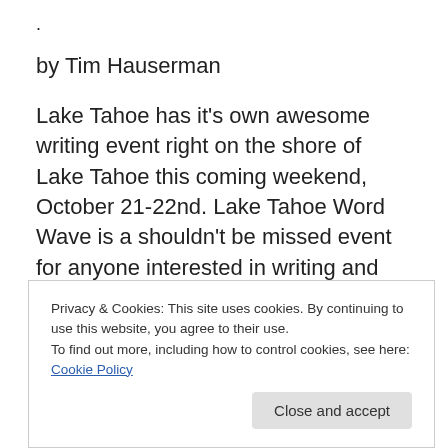.
by Tim Hauserman
Lake Tahoe has it’s own awesome writing event right on the shore of Lake Tahoe this coming weekend, October 21-22nd. Lake Tahoe Word Wave is a shouldn’t be missed event for anyone interested in writing and reading. In addition to enjoying interesting and informative presentations, you get to hang out at the spectacular
Privacy & Cookies: This site uses cookies. By continuing to use this website, you agree to their use.
To find out more, including how to control cookies, see here: Cookie Policy
Close and accept